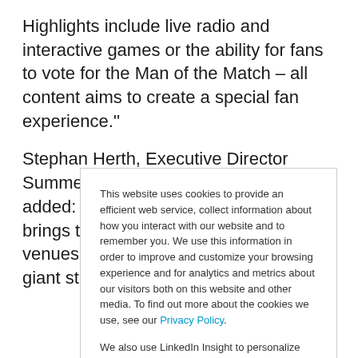Highlights include live radio and interactive games or the ability for fans to vote for the Man of the Match – all content aims to create a special fan experience.''
Stephan Herth, Executive Director Summer Sports & Football at Infront, added: "The official DFB Cup app brings the competition, its many venues, teams, players and partners a giant step closer to the fans and offers
This website uses cookies to provide an efficient web service, collect information about how you interact with our website and to remember you. We use this information in order to improve and customize your browsing experience and for analytics and metrics about our visitors both on this website and other media. To find out more about the cookies we use, see our Privacy Policy.
We also use LinkedIn Insight to personalize advertising on LinkedIn. These cookies, however, are subject to your consent.